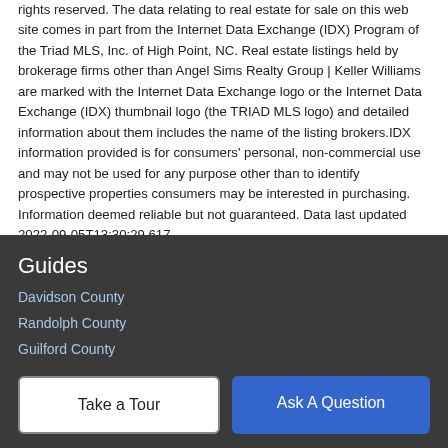rights reserved. The data relating to real estate for sale on this web site comes in part from the Internet Data Exchange (IDX) Program of the Triad MLS, Inc. of High Point, NC. Real estate listings held by brokerage firms other than Angel Sims Realty Group | Keller Williams are marked with the Internet Data Exchange logo or the Internet Data Exchange (IDX) thumbnail logo (the TRIAD MLS logo) and detailed information about them includes the name of the listing brokers.IDX information provided is for consumers' personal, non-commercial use and may not be used for any purpose other than to identify prospective properties consumers may be interested in purchasing. Information deemed reliable but not guaranteed. Data last updated 2022-09-05T13:30:29.617.
Guides
Davidson County
Randolph County
Guilford County
Surry County NC
Take a Tour
Ask A Question